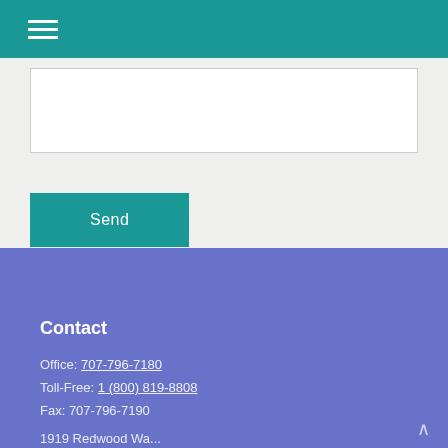[Figure (other): Hamburger menu icon (three white horizontal lines) on teal header bar]
[Figure (other): White textarea input field in a light gray form area]
[Figure (other): Teal Send button]
Contact
Office: 707-796-7180
Toll-Free: 1 (800) 819-8808
Fax: 707-796-7190
1919 Redwood Wa...